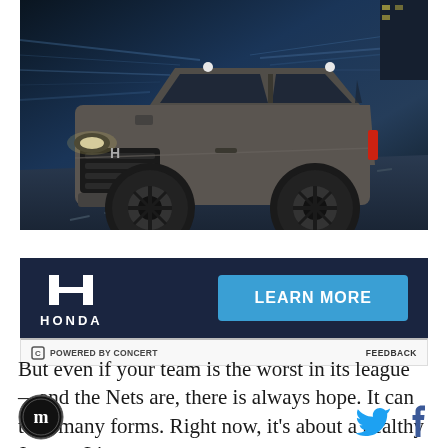[Figure (photo): Honda SUV advertisement showing a dark grey Honda CR-V SUV driving on a road with motion-blur background lighting. Features Honda logo, LEARN MORE button, and POWERED BY CONCERT / FEEDBACK bar.]
But even if your team is the worst in its league —and the Nets are, there is always hope. It can take many forms. Right now, it's about a healthy Jeremy Lin, a
[Figure (logo): SB Nation site logo - circular badge with stylized M]
[Figure (other): Twitter bird icon and Facebook f icon in blue]